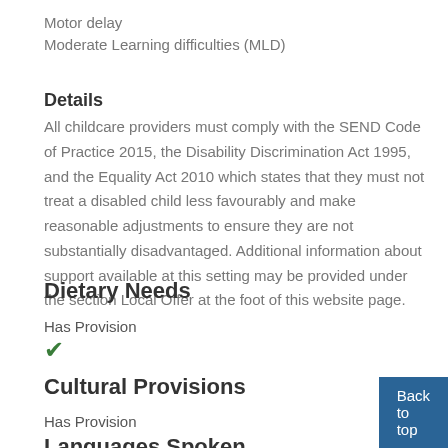Motor delay
Moderate Learning difficulties (MLD)
Details
All childcare providers must comply with the SEND Code of Practice 2015, the Disability Discrimination Act 1995, and the Equality Act 2010 which states that they must not treat a disabled child less favourably and make reasonable adjustments to ensure they are not substantially disadvantaged. Additional information about support available at this setting may be provided under the section Local Offer at the foot of this website page.
Dietary Needs
Has Provision
✓
Cultural Provisions
Has Provision
✓
Languages Spoken
Back to top